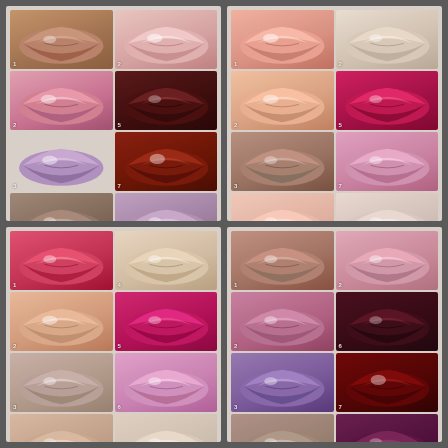[Figure (photo): Eudora Beauty lip gloss color swatches panel top-left: 8 lip photos in 2 columns showing different lip gloss shades including brown, neutral, pink, dark burgundy, lavender, deep red, taupe, and mauve with numbered labels 1-8 and Eudora Beauty branding]
[Figure (photo): Eudora Beauty lip gloss color swatches panel top-right: 8 lip photos in 2 columns showing different lip gloss shades including coral, nude, peach, hot pink, brownish nude, lilac pink, light pink, and beige nude with numbered labels 1-8 and Eudora Beauty branding]
[Figure (photo): Eudora Beauty lip gloss color swatches panel bottom-left: 8 lip photos in 2 columns showing different lip gloss shades including red pink, nude beige, peach, magenta, taupe, lilac pink, and nude warm with numbered labels 1-8 and Eudora Beauty branding]
[Figure (photo): Eudora Beauty lip gloss color swatches panel bottom-right: 8 lip photos in 2 columns showing different lip gloss shades including brown nude, pink, mauve pink, dark burgundy, lavender purple, deep dark red, taupe, and deep plum with numbered labels 1-8 and Eudora Beauty branding]